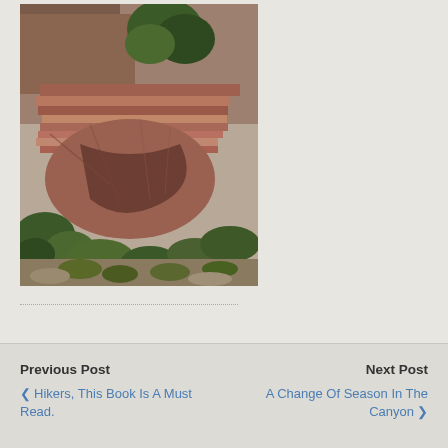[Figure (photo): Photograph of the Grand Canyon showing red rock cliff formations, layered sedimentary rock walls, green shrubs and trees in the foreground and on the canyon rim. The scene is a rugged canyon landscape taken from a viewpoint looking down into the canyon.]
Previous Post | Hikers, This Book Is A Must Read. | Next Post | A Change Of Season In The Canyon